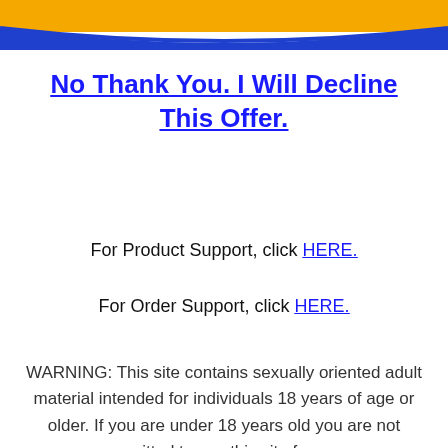[Figure (other): Orange and blue banner/header graphic at the top of the page]
No Thank You. I Will Decline This Offer.
For Product Support, click HERE.
For Order Support, click HERE.
WARNING: This site contains sexually oriented adult material intended for individuals 18 years of age or older. If you are under 18 years old you are not permitted to use this site for any